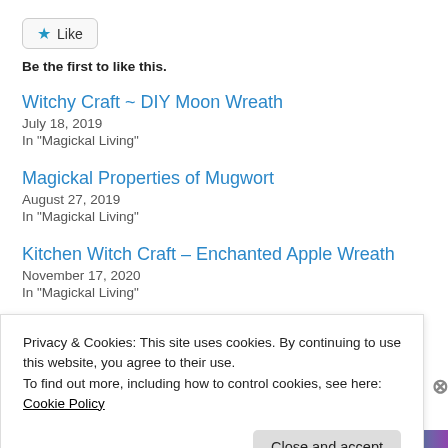[Figure (other): Like button with star icon]
Be the first to like this.
Witchy Craft ~ DIY Moon Wreath
July 18, 2019
In "Magickal Living"
Magickal Properties of Mugwort
August 27, 2019
In "Magickal Living"
Kitchen Witch Craft – Enchanted Apple Wreath
November 17, 2020
In "Magickal Living"
Privacy & Cookies: This site uses cookies. By continuing to use this website, you agree to their use.
To find out more, including how to control cookies, see here: Cookie Policy
Close and accept